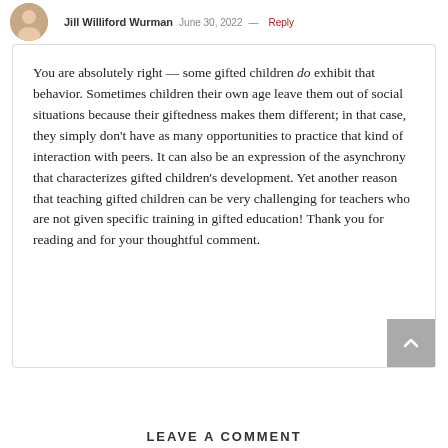Jill Williford Wurman   June 30, 2022   Reply
You are absolutely right — some gifted children do exhibit that behavior. Sometimes children their own age leave them out of social situations because their giftedness makes them different; in that case, they simply don't have as many opportunities to practice that kind of interaction with peers. It can also be an expression of the asynchrony that characterizes gifted children's development. Yet another reason that teaching gifted children can be very challenging for teachers who are not given specific training in gifted education! Thank you for reading and for your thoughtful comment.
LEAVE A COMMENT